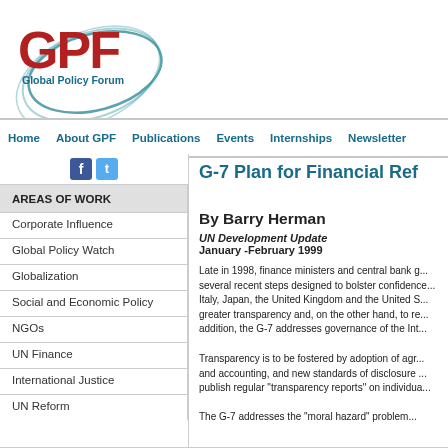[Figure (logo): GPF Global Policy Forum logo with red GPF text and teal swoosh arc]
Home | About GPF | Publications | Events | Internships | Newsletter
[Figure (logo): Facebook and Twitter social icons]
AREAS OF WORK
Corporate Influence
Global Policy Watch
Globalization
Social and Economic Policy
NGOs
UN Finance
International Justice
UN Reform
G-7 Plan for Financial Ref...
By Barry Herman
UN Development Update
January -February 1999
Late in 1998, finance ministers and central bank g... several recent steps designed to bolster confidence... Italy, Japan, the United Kingdom and the United S... greater transparency and, on the other hand, to re... addition, the G-7 addresses governance of the Int...
Transparency is to be fostered by adoption of agr... and accounting, and new standards of disclosure ... publish regular "transparency reports" on individua...
The G-7 addresses the "moral hazard" problem...